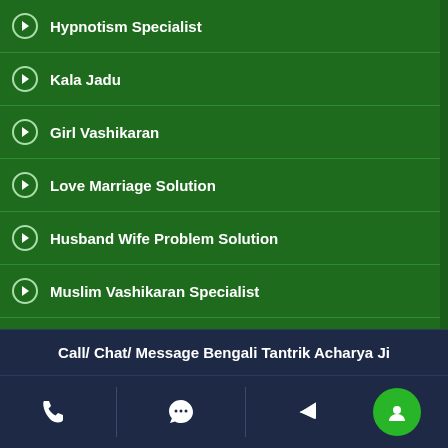Hypnotism Specialist
Kala Jadu
Girl Vashikaran
Love Marriage Solution
Husband Wife Problem Solution
Muslim Vashikaran Specialist
Wazaif For Marriage
Islamic Vashikaran Mantra
Muslim Tantra Mantra
Islamic Voodoo Spell
Black Magic
Remove Black Magic For Marriage
Call/ Chat/ Message Bengali Tantrik Acharya Ji